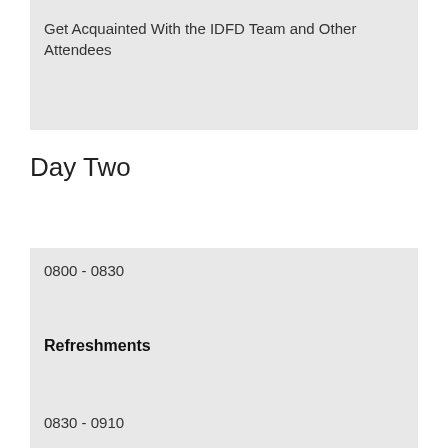Get Acquainted With the IDFD Team and Other Attendees
Day Two
0800 - 0830
Refreshments
0830 - 0910